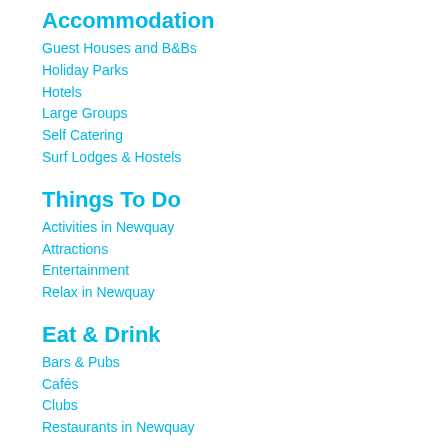Accommodation
Guest Houses and B&Bs
Holiday Parks
Hotels
Large Groups
Self Catering
Surf Lodges & Hostels
Things To Do
Activities in Newquay
Attractions
Entertainment
Relax in Newquay
Eat & Drink
Bars & Pubs
Cafés
Clubs
Restaurants in Newquay
Whats On